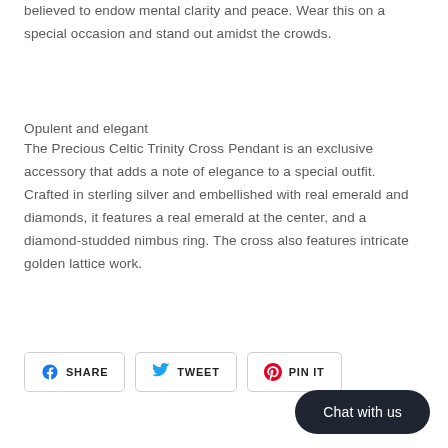believed to endow mental clarity and peace. Wear this on a special occasion and stand out amidst the crowds.
Opulent and elegant
The Precious Celtic Trinity Cross Pendant is an exclusive accessory that adds a note of elegance to a special outfit. Crafted in sterling silver and embellished with real emerald and diamonds, it features a real emerald at the center, and a diamond-studded nimbus ring. The cross also features intricate golden lattice work.
SHARE   TWEET   PIN IT
Chat with us